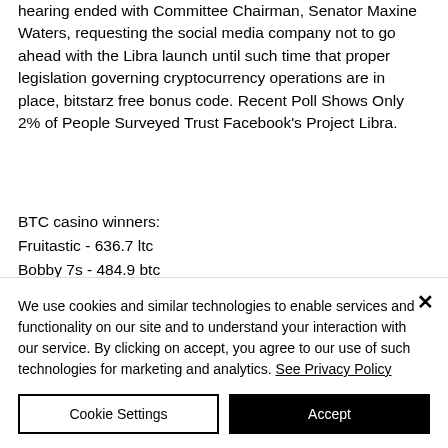hearing ended with Committee Chairman, Senator Maxine Waters, requesting the social media company not to go ahead with the Libra launch until such time that proper legislation governing cryptocurrency operations are in place, bitstarz free bonus code. Recent Poll Shows Only 2% of People Surveyed Trust Facebook's Project Libra.
BTC casino winners:
Fruitastic - 636.7 ltc
Bobby 7s - 484.9 btc
Elements The Awakening - 464.5 btc
We use cookies and similar technologies to enable services and functionality on our site and to understand your interaction with our service. By clicking on accept, you agree to our use of such technologies for marketing and analytics. See Privacy Policy
Cookie Settings
Accept